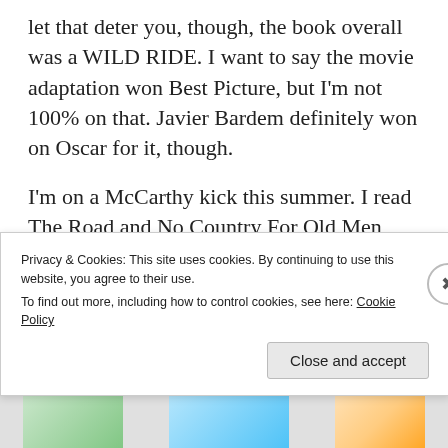let that deter you, though, the book overall was a WILD RIDE. I want to say the movie adaptation won Best Picture, but I'm not 100% on that. Javier Bardem definitely won on Oscar for it, though.
I'm on a McCarthy kick this summer. I read The Road and No Country For Old Men, and bought Blood Meridian (supposedly his best work) and All the Pretty Horses (I
Privacy & Cookies: This site uses cookies. By continuing to use this website, you agree to their use.
To find out more, including how to control cookies, see here: Cookie Policy